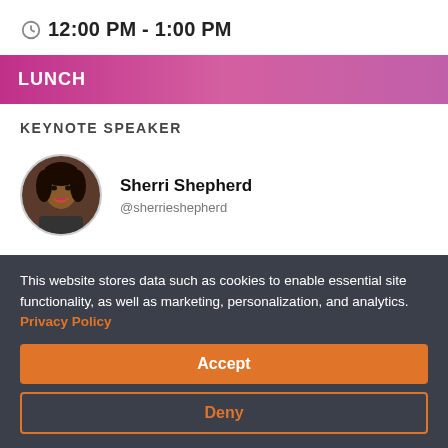12:00 PM - 1:00 PM
LUNCH
KEYNOTE SPEAKER
Sherri Shepherd @sherrieshepherd
This website stores data such as cookies to enable essential site functionality, as well as marketing, personalization, and analytics. Privacy Policy
Accept
Deny